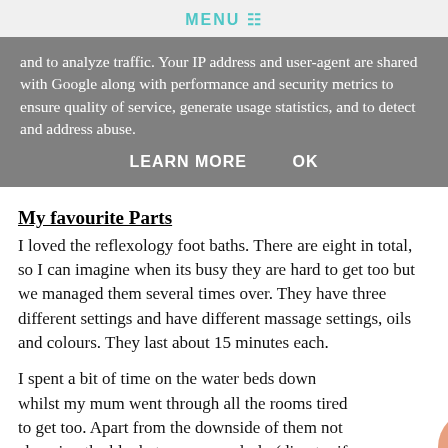MENU
and to analyze traffic. Your IP address and user-agent are shared with Google along with performance and security metrics to ensure quality of service, generate usage statistics, and to detect and address abuse.
LEARN MORE    OK
My favourite Parts
I loved the reflexology foot baths. There are eight in total, so I can imagine when its busy they are hard to get too but we managed them several times over. They have three different settings and have different massage settings, oils and colours. They last about 15 minutes each.
I spent a bit of time on the water beds down whilst my mum went through all the rooms tired to get too. Apart from the downside of them not changing the blankets more regularly (disaster if